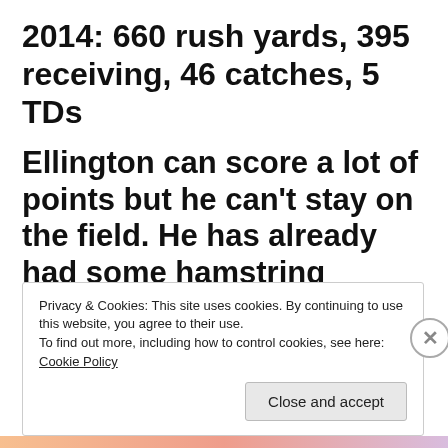2014: 660 rush yards, 395 receiving, 46 catches, 5 TDs
Ellington can score a lot of points but he can’t stay on the field. He has already had some hamstring troubles in camp.
Privacy & Cookies: This site uses cookies. By continuing to use this website, you agree to their use.
To find out more, including how to control cookies, see here: Cookie Policy
Close and accept